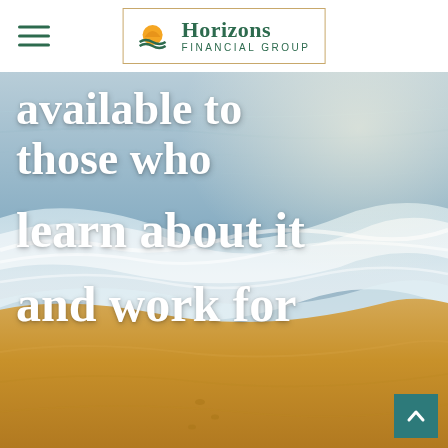Horizons Financial Group
[Figure (photo): Beach scene with ocean waves washing onto golden sand, with large white cursive script overlay text reading: 'available to those who learn about it and work for']
available to those who learn about it and work for